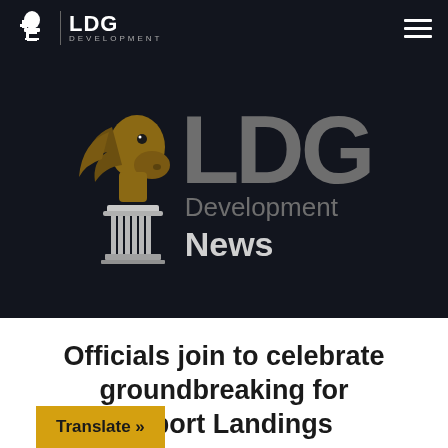[Figure (logo): LDG Development logo in header navigation bar with white horse/chess knight icon and text 'LDG DEVELOPMENT']
[Figure (logo): Large LDG Development News hero logo on dark background with gold/brown horse icon and large gray 'LDG' text with 'Development News' beneath]
Officials join to celebrate groundbreaking for Airport Landings
Translate »